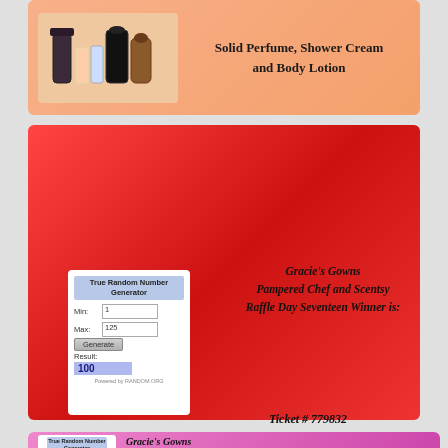[Figure (photo): Top section with peach gradient background showing perfume/lotion bottles on left]
Solid Perfume, Shower Cream and Body Lotion
[Figure (screenshot): True Random Number Generator showing Min:1, Max:125, Result:100]
Gracie's Gowns Pampered Chef and Scentsy Raffle Day Seventeen Winner is:
Ticket # 779832 Hollie Williams
Items Won are from The Pampered Chef:
[Figure (photo): Cookie cutter set in a tin box]
Cookie Sheet and Creative Cutters
[Figure (photo): Silver baking/cookie sheet]
[Figure (photo): Bottom section with pink/magenta gradient, Gracie's Gowns Pampered Chef and Scentsy raffle announcement]